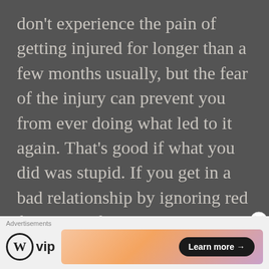don't experience the pain of getting injured for longer than a few months usually, but the fear of the injury can prevent you from ever doing what led to it again. That's good if what you did was stupid. If you get in a bad relationship by ignoring red flags, hopefully getting hurt will lead to wiser decisions in the future...but if you refuse then to get
[Figure (other): Advertisement bar with WordPress VIP logo and a colorful gradient banner with a 'Learn more →' button]